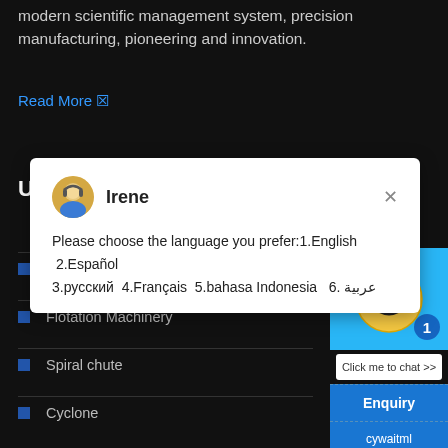modern scientific management system, precision manufacturing, pioneering and innovation.
Read More ↳
USEFUL LINKS
[Figure (screenshot): Chat popup overlay showing avatar of Irene with message: Please choose the language you prefer:1.English 2.Español 3.русский 4.Français 5.bahasa Indonesia 6. عربية. Smiley face chat widget with notification badge '1' and 'Click me to chat >>' button. Right panel with Enquiry button and cywaitml@gmail.com email.]
Magnetic Separator
Flotation Machinery
Spiral chute
Cyclone